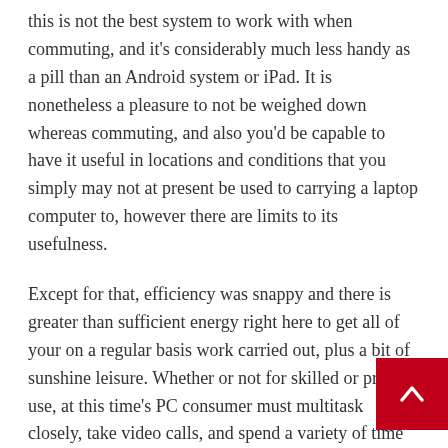this is not the best system to work with when commuting, and it's considerably much less handy as a pill than an Android system or iPad. It is nonetheless a pleasure to not be weighed down whereas commuting, and also you'd be capable to have it useful in locations and conditions that you simply may not at present be used to carrying a laptop computer to, however there are limits to its usefulness.
Except for that, efficiency was snappy and there is greater than sufficient energy right here to get all of your on a regular basis work carried out, plus a bit of sunshine leisure. Whether or not for skilled or private use, at this time's PC consumer must multitask closely, take video calls, and spend a variety of time on-line. The Galaxy Book 2 Professional 360 managed all of that fairly handily in my time with it.